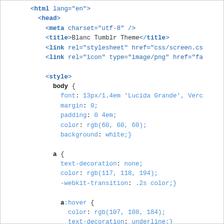[Figure (screenshot): A code editor screenshot showing HTML and CSS source code for a Blanc Tumblr Theme, displayed with syntax highlighting. The HTML structure includes html, head, meta, title, link, and style tags. The CSS includes rules for body, a, a:hover, and section#main selectors with various properties.]